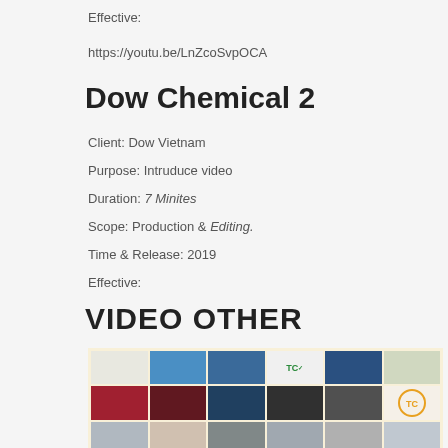Effective:
https://youtu.be/LnZcoSvpOCA
Dow Chemical 2
Client: Dow Vietnam
Purpose: Intruduce video
Duration: 7 Minites
Scope: Production & Editing.
Time & Release: 2019
Effective:
VIDEO OTHER
[Figure (photo): Grid of video thumbnail images showing various video productions]